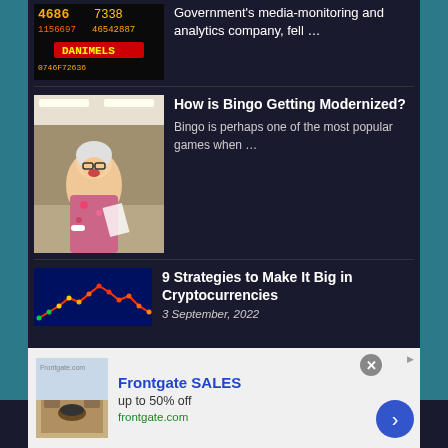[Figure (photo): Stock market ticker board showing numbers including 4686 and 7338 in orange/yellow, with a red banner showing DANIMELS]
Government's media-monitoring and analytics company, fell …
[Figure (photo): A woman laughing at a bingo hall, wearing glasses and a floral dress, holding papers, with tables and people in the background]
How is Bingo Getting Modernized?
Bingo is perhaps one of the most popular games when …
[Figure (photo): Cryptocurrency chart showing a price line with colored dots (green to red) on a dark blue background]
9 Strategies to Make It Big in Cryptocurrencies
3 September, 2022
Frontgate SALES
up to 50% off
frontgate.com